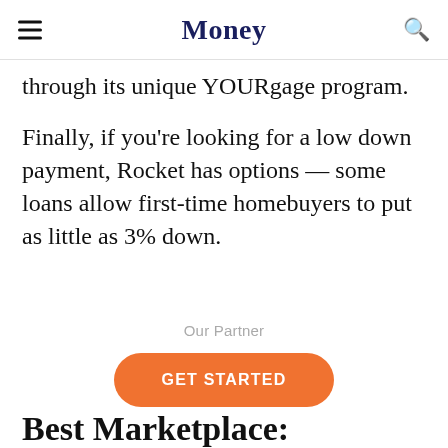Money
through its unique YOURgage program.
Finally, if you're looking for a low down payment, Rocket has options — some loans allow first-time homebuyers to put as little as 3% down.
Our Partner
GET STARTED
Best Marketplace: